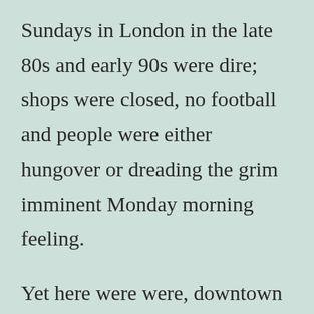Sundays in London in the late 80s and early 90s were dire; shops were closed, no football and people were either hungover or dreading the grim imminent Monday morning feeling.
Yet here were were, downtown Nashville, wearing shirt sleeves, sitting on a porch outside a store, sun shining, just passin’ the time and chewin’ the fat. Along comes a fine